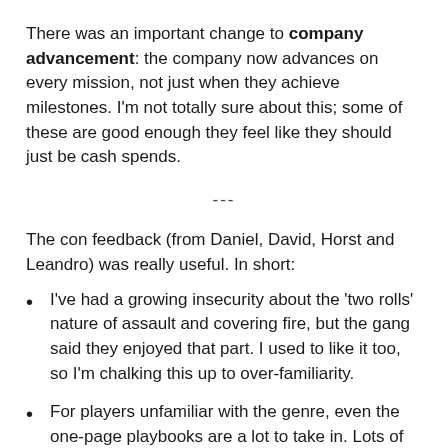There was an important change to company advancement: the company now advances on every mission, not just when they achieve milestones. I'm not totally sure about this; some of these are good enough they feel like they should just be cash spends.
---
The con feedback (from Daniel, David, Horst and Leandro) was really useful. In short:
I've had a growing insecurity about the 'two rolls' nature of assault and covering fire, but the gang said they enjoyed that part. I used to like it too, so I'm chalking this up to over-familiarity.
For players unfamiliar with the genre, even the one-page playbooks are a lot to take in. Lots of boxes to tick off. (I remember feeling this way looking at Blades character sheets.)
Horst asked for a stress mechanic, which made me